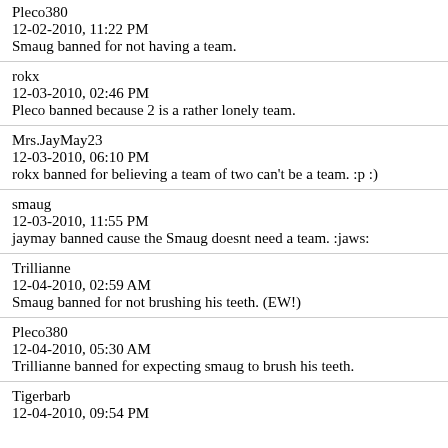Pleco380
12-02-2010, 11:22 PM
Smaug banned for not having a team.
rokx
12-03-2010, 02:46 PM
Pleco banned because 2 is a rather lonely team.
Mrs.JayMay23
12-03-2010, 06:10 PM
rokx banned for believing a team of two can't be a team. :p :)
smaug
12-03-2010, 11:55 PM
jaymay banned cause the Smaug doesnt need a team. :jaws:
Trillianne
12-04-2010, 02:59 AM
Smaug banned for not brushing his teeth. (EW!)
Pleco380
12-04-2010, 05:30 AM
Trillianne banned for expecting smaug to brush his teeth.
Tigerbarb
12-04-2010, 09:54 PM